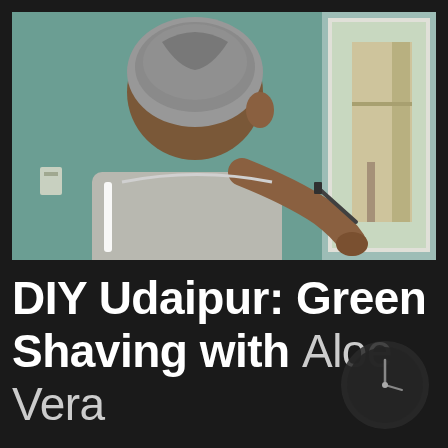[Figure (photo): An elderly man with grey hair viewed from behind, shaving or grooming using a razor in front of a wall-mounted mirror. He is wearing a light grey shirt. The background shows a wall and a mirror reflecting an outdoor scene.]
DIY Udaipur: Green Shaving with Aloe Vera